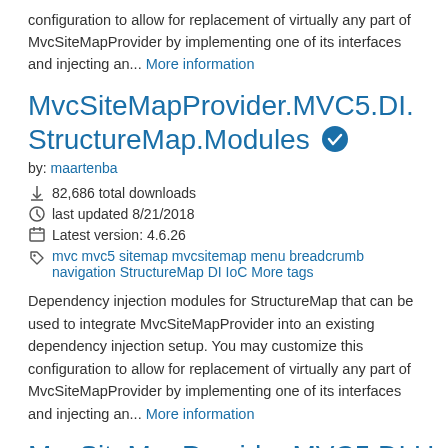configuration to allow for replacement of virtually any part of MvcSiteMapProvider by implementing one of its interfaces and injecting an... More information
MvcSiteMapProvider.MVC5.DI.StructureMap.Modules
by: maartenba
82,686 total downloads
last updated 8/21/2018
Latest version: 4.6.26
mvc mvc5 sitemap mvcsitemap menu breadcrumb navigation StructureMap DI IoC More tags
Dependency injection modules for StructureMap that can be used to integrate MvcSiteMapProvider into an existing dependency injection setup. You may customize this configuration to allow for replacement of virtually any part of MvcSiteMapProvider by implementing one of its interfaces and injecting an... More information
MvcSiteMapProvider.MVC5.DI.Unity